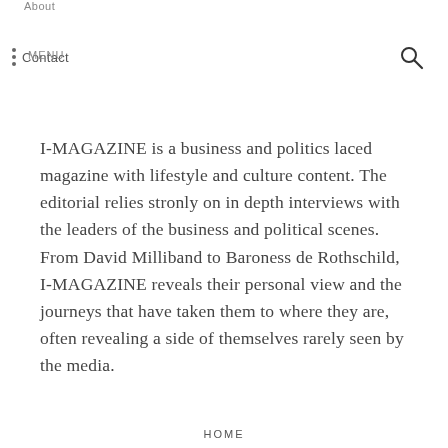About
Contact  MENU
I-MAGAZINE is a business and politics laced magazine with lifestyle and culture content. The editorial relies stronly on in depth interviews with the leaders of the business and political scenes. From David Milliband to Baroness de Rothschild, I-MAGAZINE reveals their personal view and the journeys that have taken them to where they are, often revealing a side of themselves rarely seen by the media.
HOME